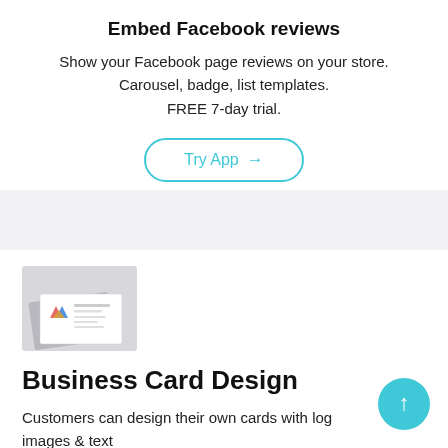Embed Facebook reviews
Show your Facebook page reviews on your store.
Carousel, badge, list templates.
FREE 7-day trial.
[Figure (other): Try App button with cyan/teal rounded border and arrow]
[Figure (photo): Business card design mockup showing stacked business cards with a logo and text]
Business Card Design
Customers can design their own cards with log images & text